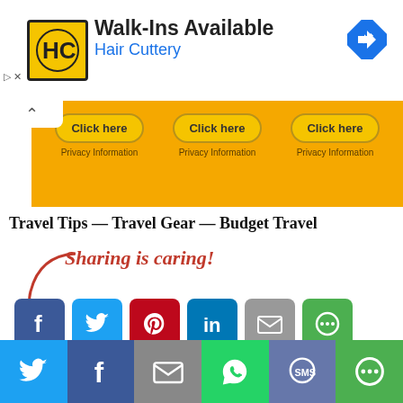[Figure (screenshot): Ad banner for Hair Cuttery with logo, Walk-Ins Available text, and navigation icon]
[Figure (screenshot): Orange advertisement banner with three Click here buttons and Privacy Information text]
Travel Tips — Travel Gear — Budget Travel
[Figure (screenshot): Sharing is caring section with arrow and social media share buttons: Facebook, Twitter, Pinterest, LinkedIn, Email, and More]
[Figure (screenshot): Bottom social sharing bar with Twitter, Facebook, Email, WhatsApp, SMS, and More icons]